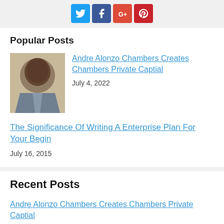[Figure (infographic): Social media sharing icons: Twitter (blue), Facebook (dark blue), Google+ (red), Pinterest (red)]
Popular Posts
[Figure (photo): Photo of Andre Alonzo Chambers, a man in a suit jacket]
Andre Alonzo Chambers Creates Chambers Private Captial
July 4, 2022
The Significance Of Writing A Enterprise Plan For Your Begin
July 16, 2015
Recent Posts
Andre Alonzo Chambers Creates Chambers Private Captial
The Right Platform Trading For Forex Success!